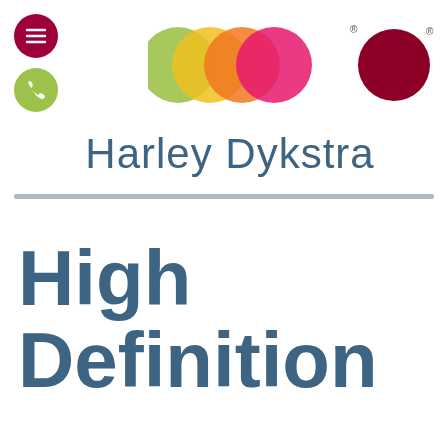[Figure (logo): Harley Dykstra logo with overlapping colored circles (green, yellow, orange, hot pink) and a separate dark red circle, plus hamburger menu button (dark red circle) and phone button (green circle) at top left. Company name 'Harley Dykstra' in teal/steel blue sans-serif font below the circles.]
High Definition